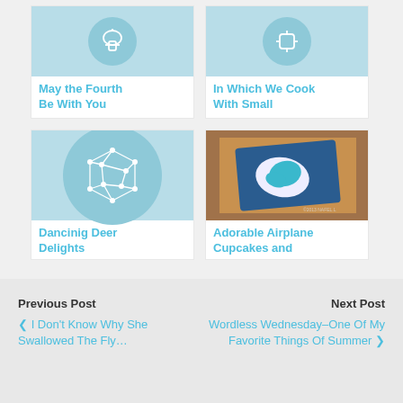[Figure (illustration): Card with light blue icon (scissors/tool) on teal circle background]
May the Fourth Be With You
[Figure (illustration): Card with light blue icon on teal circle background]
In Which We Cook With Small
[Figure (illustration): Card with network/mesh polygon icon on teal circle background, large]
Dancinig Deer Delights
[Figure (photo): Photo of airplane cupcake in a box, blue frosting]
Adorable Airplane Cupcakes and
Previous Post
❮ I Don't Know Why She Swallowed The Fly…
Next Post
Wordless Wednesday–One Of My Favorite Things Of Summer ❯